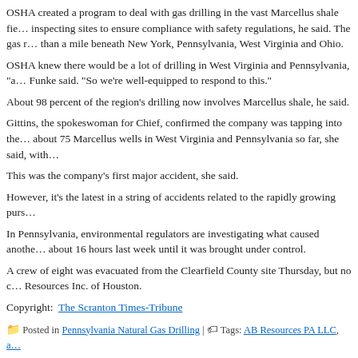OSHA created a program to deal with gas drilling in the vast Marcellus shale fields, inspecting sites to ensure compliance with safety regulations, he said. The gas reservoir is more than a mile beneath New York, Pennsylvania, West Virginia and Ohio.
OSHA knew there would be a lot of drilling in West Virginia and Pennsylvania, "a lot," Funke said. "So we're well-equipped to respond to this."
About 98 percent of the region's drilling now involves Marcellus shale, he said.
Gittins, the spokeswoman for Chief, confirmed the company was tapping into the Marcellus, about 75 Marcellus wells in West Virginia and Pennsylvania so far, she said, with more planned.
This was the company's first major accident, she said.
However, it's the latest in a string of accidents related to the rapidly growing pursuit of natural gas.
In Pennsylvania, environmental regulators are investigating what caused another natural gas well to burn for about 16 hours last week until it was brought under control.
A crew of eight was evacuated from the Clearfield County site Thursday, but no one was hurt. The well is operated by EOG Resources Inc. of Houston.
Copyright:  The Scranton Times-Tribune
Posted in Pennsylvania Natural Gas Drilling | Tags: AB Resources PA LLC, a... Hendershot, BJ Services Co., Brecksville, Charleston, Clearfield County, Consol Energy, Environmental Protection, DLP Law, drilling, drilling rig accidents, eog resources inc, ex... gas reserve, Greece, hospital spokeswoman, HOUSTON, inspector, Jeff Funke, Kristi C... Moundsville, natural gas, natural gas well, New York, Northern Panhandle, Occupationa... Gas, Ohio, Pennsylvania, Pittsburgh, Press Writer, rig fires, rig operator, site contractor, spokeswoman, telephone message, Texas, Union Drilling, Va., W., West Penn Burn Ce... Virginia, wild well control | Comments Closed
Drilling industry concerns anglers, hunte